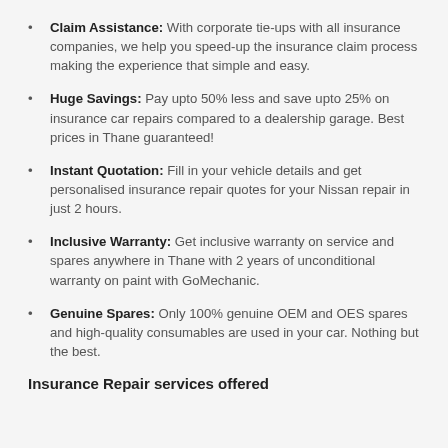Claim Assistance: With corporate tie-ups with all insurance companies, we help you speed-up the insurance claim process making the experience that simple and easy.
Huge Savings: Pay upto 50% less and save upto 25% on insurance car repairs compared to a dealership garage. Best prices in Thane guaranteed!
Instant Quotation: Fill in your vehicle details and get personalised insurance repair quotes for your Nissan repair in just 2 hours.
Inclusive Warranty: Get inclusive warranty on service and spares anywhere in Thane with 2 years of unconditional warranty on paint with GoMechanic.
Genuine Spares: Only 100% genuine OEM and OES spares and high-quality consumables are used in your car. Nothing but the best.
Insurance Repair services offered